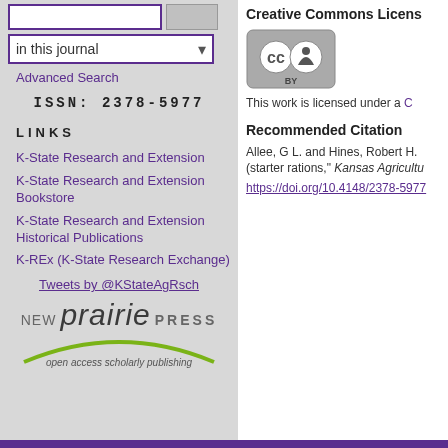in this journal
Advanced Search
ISSN: 2378-5977
LINKS
K-State Research and Extension
K-State Research and Extension Bookstore
K-State Research and Extension Historical Publications
K-REx (K-State Research Exchange)
Tweets by @KStateAgRsch
[Figure (logo): New Prairie Press logo with green arc and tagline 'open access scholarly publishing']
Creative Commons License
[Figure (logo): Creative Commons BY license badge]
This work is licensed under a C
Recommended Citation
Allee, G L. and Hines, Robert H. (starter rations," Kansas Agricultu
https://doi.org/10.4148/2378-5977